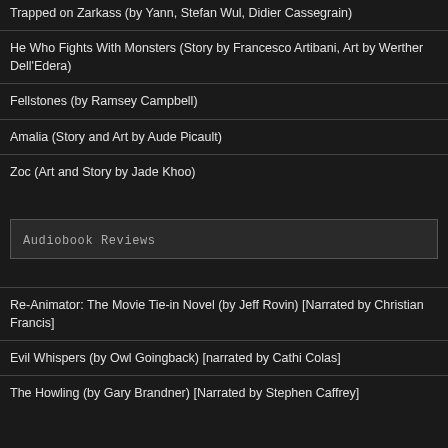Trapped on Zarkass (by Yann, Stefan Wul, Didier Cassegrain)
He Who Fights With Monsters (Story by Francesco Artibani, Art by Werther Dell'Edera)
Fellstones (by Ramsey Campbell)
Amalia (Story and Art by Aude Picault)
Zoc (Art and Story by Jade Khoo)
Audiobook Reviews
Re-Animator: The Movie Tie-in Novel (by Jeff Rovin) [Narrated by Christian Francis]
Evil Whispers (by Owl Goingback) [narrated by Cathi Colas]
The Howling (by Gary Brandner) [Narrated by Stephen Caffrey]